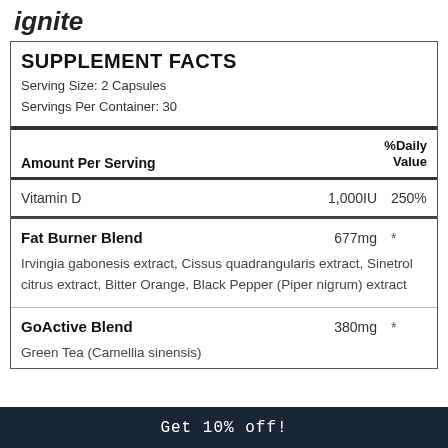ignite
| Amount Per Serving |  | %Daily Value |
| --- | --- | --- |
| Vitamin D | 1,000IU | 250% |
| Fat Burner Blend | 677mg | * |
| Irvingia gabonesis extract, Cissus quadrangularis extract, Sinetrol citrus extract, Bitter Orange, Black Pepper (Piper nigrum) extract |  |  |
| GoActive Blend | 380mg | * |
| Green Tea (Camellia sinensis) |  |  |
Get 10% off!